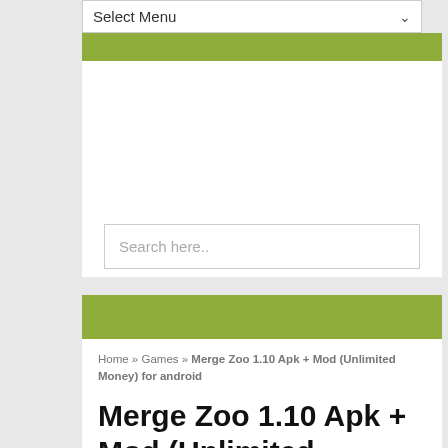Select Menu
[Figure (screenshot): Green navigation bar]
[Figure (screenshot): White advertisement area]
Search here..
[Figure (screenshot): Green bar]
Home » Games » Merge Zoo 1.10 Apk + Mod (Unlimited Money) for android
Merge Zoo 1.10 Apk + Mod (Unlimited Money) for android
[Figure (photo): Gray placeholder image at bottom]